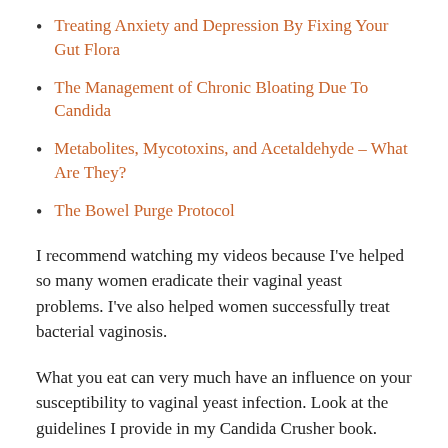Treating Anxiety and Depression By Fixing Your Gut Flora
The Management of Chronic Bloating Due To Candida
Metabolites, Mycotoxins, and Acetaldehyde – What Are They?
The Bowel Purge Protocol
I recommend watching my videos because I've helped so many women eradicate their vaginal yeast problems. I've also helped women successfully treat bacterial vaginosis.
What you eat can very much have an influence on your susceptibility to vaginal yeast infection. Look at the guidelines I provide in my Candida Crusher book.